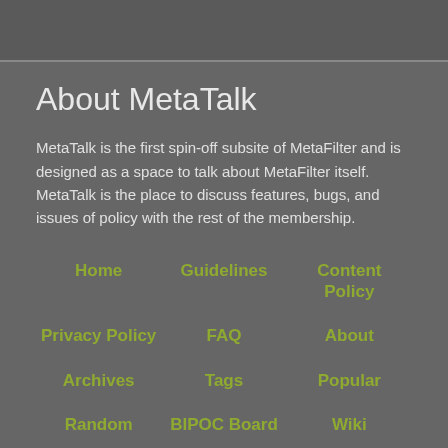About MetaTalk
MetaTalk is the first spin-off subsite of MetaFilter and is designed as a space to talk about MetaFilter itself. MetaTalk is the place to discuss features, bugs, and issues of policy with the rest of the membership.
Home
Guidelines
Content Policy
Privacy Policy
FAQ
About
Archives
Tags
Popular
Random
BIPOC Board
Wiki
Search
Chat
Labs